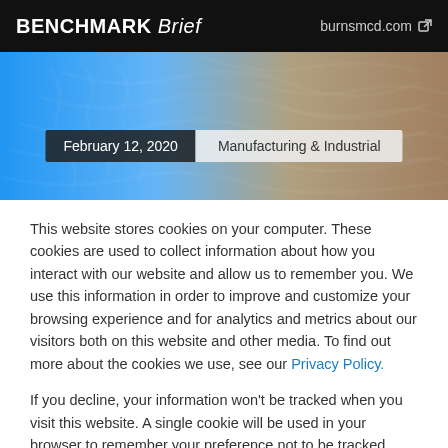BENCHMARK Brief | burnsmcd.com
[Figure (other): Blue and tan gradient banner with topographic contour line pattern overlay, containing date and category label: February 12, 2020 | Manufacturing & Industrial]
This website stores cookies on your computer. These cookies are used to collect information about how you interact with our website and allow us to remember you. We use this information in order to improve and customize your browsing experience and for analytics and metrics about our visitors both on this website and other media. To find out more about the cookies we use, see our Privacy Policy.
If you decline, your information won't be tracked when you visit this website. A single cookie will be used in your browser to remember your preference not to be tracked.
Accept | Decline